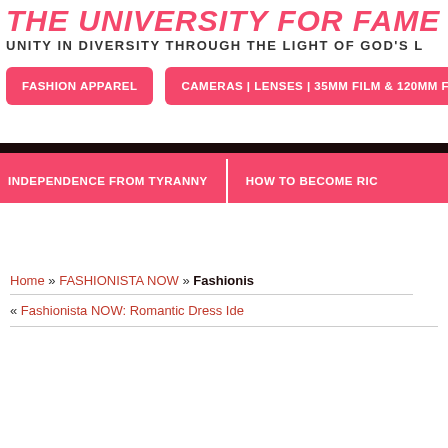THE UNIVERSITY FOR FAME ONLINE
UNITY IN DIVERSITY THROUGH THE LIGHT OF GOD'S L
FASHION APPAREL
CAMERAS | LENSES | 35MM FILM & 120MM FILM
INDEPENDENCE FROM TYRANNY
HOW TO BECOME RIC
Home » FASHIONISTA NOW » Fashionis
« Fashionista NOW: Romantic Dress Ide